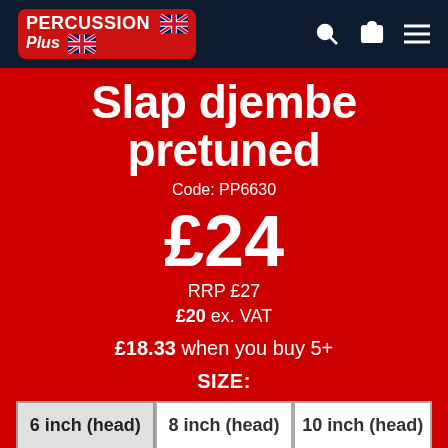[Figure (logo): Percussion Plus logo with UK flag on dark navy header bar, with search, cart and menu icons]
Slap djembe pretuned
Code: PP6630
£24
RRP £27
£20 ex. VAT
£18.33 when you buy 5+
SIZE:
6 inch (head)
8 inch (head)
10 inch (head)